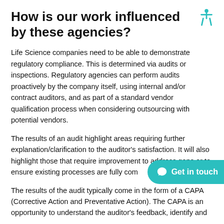How is our work influenced by these agencies?
Life Science companies need to be able to demonstrate regulatory compliance. This is determined via audits or inspections. Regulatory agencies can perform audits proactively by the company itself, using internal and/or contract auditors, and as part of a standard vendor qualification process when considering outsourcing with potential vendors.
The results of an audit highlight areas requiring further explanation/clarification to the auditor's satisfaction. It will also highlight those that require improvement to address gaps or to ensure existing processes are fully com
The results of the audit typically come in the form of a CAPA (Corrective Action and Preventative Action). The CAPA is an opportunity to understand the auditor's feedback, identify and